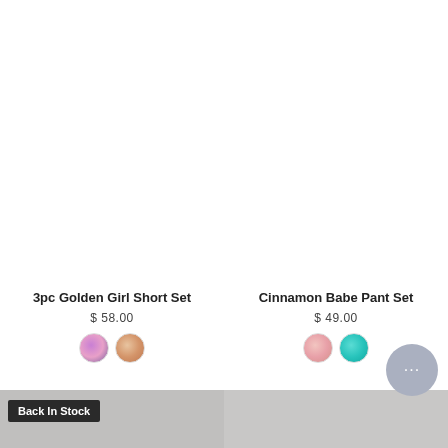[Figure (photo): Product photo area top-left (3pc Golden Girl Short Set)]
[Figure (photo): Product photo area top-right (Cinnamon Babe Pant Set)]
3pc Golden Girl Short Set
$ 58.00
[Figure (illustration): Two color swatches: purple-pink multicolor and skin/orange tone]
Cinnamon Babe Pant Set
$ 49.00
[Figure (illustration): Two color swatches: nude pink and teal]
[Figure (photo): Bottom left product/model photo with Back In Stock badge]
Back In Stock
[Figure (photo): Bottom right product/model photo]